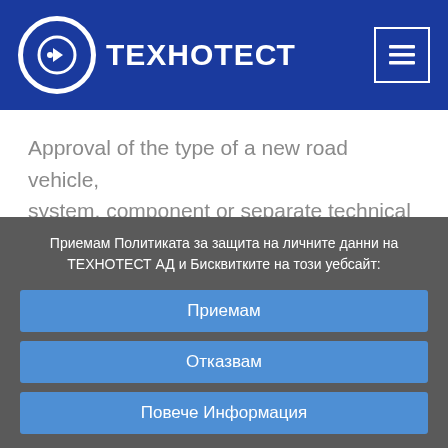ТЕХНОТЕСТ
Approval of the type of a new road vehicle, system, component or separate technical units
Приемам Политиката за защита на личните данни на ТЕХНОТЕСТ АД и Бисквитките на този уебсайт:
Приемам
Отказвам
Повече Информация